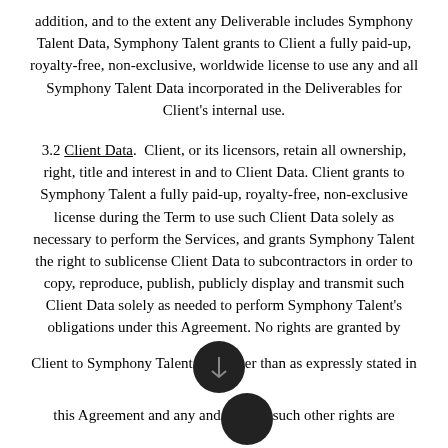addition, and to the extent any Deliverable includes Symphony Talent Data, Symphony Talent grants to Client a fully paid-up, royalty-free, non-exclusive, worldwide license to use any and all Symphony Talent Data incorporated in the Deliverables for Client's internal use.
3.2 Client Data. Client, or its licensors, retain all ownership, right, title and interest in and to Client Data. Client grants to Symphony Talent a fully paid-up, royalty-free, non-exclusive license during the Term to use such Client Data solely as necessary to perform the Services, and grants Symphony Talent the right to sublicense Client Data to subcontractors in order to copy, reproduce, publish, publicly display and transmit such Client Data solely as needed to perform Symphony Talent's obligations under this Agreement. No rights are granted by Client to Symphony Talent other than as expressly stated in this Agreement and any and all such other rights are reserved by Client. When Client Data is no longer required for performance of the Services, or in any event upon